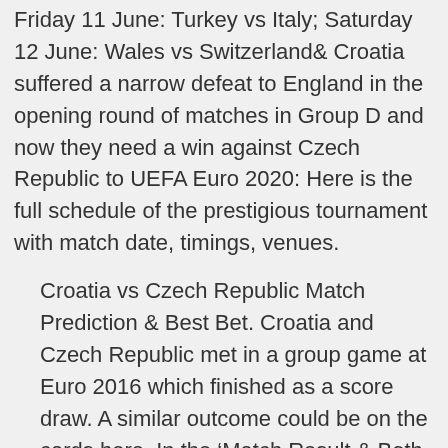Friday 11 June: Turkey vs Italy; Saturday 12 June: Wales vs Switzerland& Croatia suffered a narrow defeat to England in the opening round of matches in Group D and now they need a win against Czech Republic to UEFA Euro 2020: Here is the full schedule of the prestigious tournament with match date, timings, venues.
Croatia vs Czech Republic Match Prediction & Best Bet. Croatia and Czech Republic met in a group game at Euro 2016 which finished as a score draw. A similar outcome could be on the cards here. In the 'Match Result & Both Teams to Score' (BTTS) betting market, the 'Draw & Yes' can be backed at odds of 15/4 with bet365*.
Live Poland vs Slovakia, Euro 2020 live: Score and